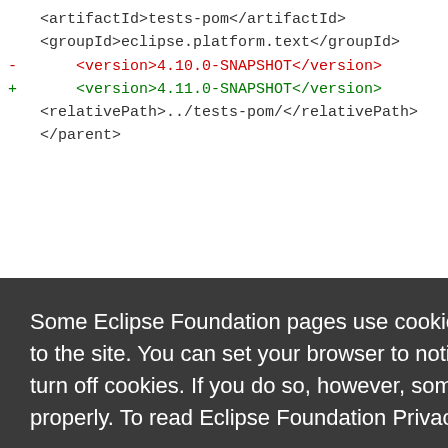<artifactId>tests-pom</artifactId>
    <groupId>eclipse.platform.text</groupId>
-       <version>4.10.0-SNAPSHOT</version>
+       <version>4.11.0-SNAPSHOT</version>
    <relativePath>../tests-pom/</relativePath>
</parent>
Some Eclipse Foundation pages use cookies to better serve you when you return to the site. You can set your browser to notify you before you receive a cookie or turn off cookies. If you do so, however, some areas of some sites may not function properly. To read Eclipse Foundation Privacy Policy click here.
Decline   Allow cookies
b/org.ecl...artifactId...upId>...actId>...xml b/org...
index ab1ced2457..97122535192 100644